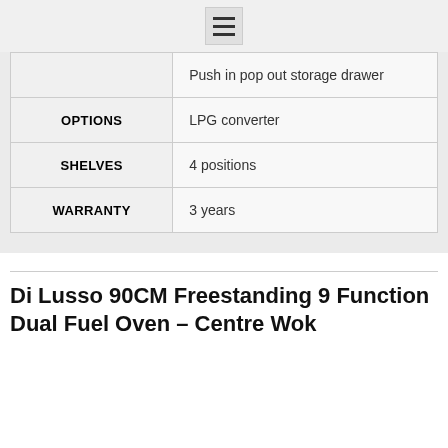[hamburger menu icon]
|  | Push in pop out storage drawer |
| OPTIONS | LPG converter |
| SHELVES | 4 positions |
| WARRANTY | 3 years |
Di Lusso 90CM Freestanding 9 Function Dual Fuel Oven – Centre Wok